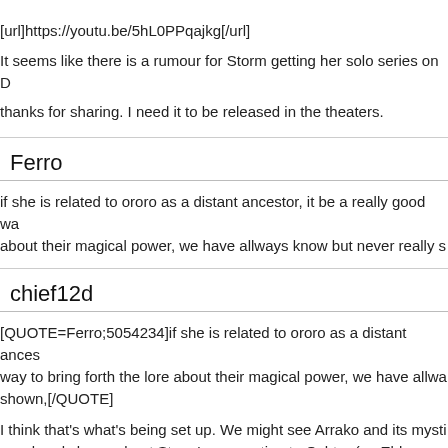[url]https://youtu.be/5hL0PPqajkg[/url]
It seems like there is a rumour for Storm getting her solo series on D
thanks for sharing. I need it to be released in the theaters.
Ferro
if she is related to ororo as a distant ancestor, it be a really good wa about their magical power, we have allways know but never really s
chief12d
[QUOTE=Ferro;5054234]if she is related to ororo as a distant ances way to bring forth the lore about their magical power, we have allwa shown,[/QUOTE]
I think that's what's being set up. We might see Arrako and its mysti we already know about Storm's connection to Oshtur (an Elder God digging deep into Marvel's magical landscape. In the FCBD issues w a Many-Angled One and the heavy Egyptian imagery makes me thi connected.